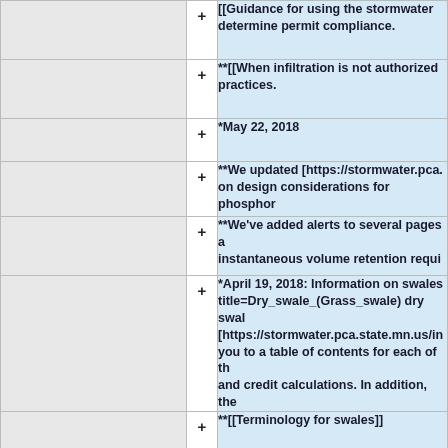|  | + | [[Guidance for using the stormwater... determine permit compliance. |
|  | + | **[[When infiltration is not authorized... practices. |
|  | + | *May 22, 2018 |
|  | + | **We updated [https://stormwater.pca... on design considerations for phosphor... |
|  | + | **We've added alerts to several pages a... instantaneous volume retention requi... |
|  | + | *April 19, 2018: Information on swales title=Dry_swale_(Grass_swale) dry swa... [https://stormwater.pca.state.mn.us/i... you to a table of contents for each of th... and credit calculations. In addition, the... |
|  | + | **[[Terminology for swales]] |
|  | + | **[[BMPs for stormwater filtration | Typ... |
|  | + | **[[Plants for swales]] |